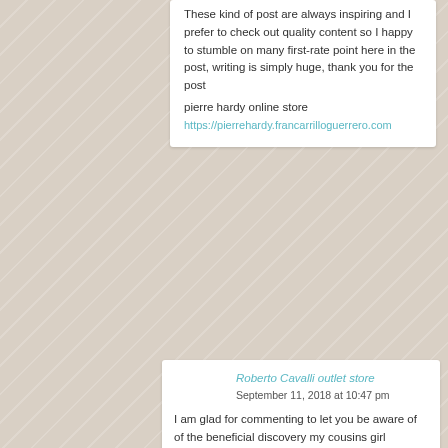These kind of post are always inspiring and I prefer to check out quality content so I happy to stumble on many first-rate point here in the post, writing is simply huge, thank you for the post
piere hardy online store
https://pierrehardy.francarrilloguerrero.com
[Figure (photo): Generic user avatar icon, grey background]
Roberto Cavalli outlet store
September 11, 2018 at 10:47 pm
I am glad for commenting to let you be aware of of the beneficial discovery my cousins girl developed going through your web site. She learned lots of pieces, which include what it is like to have a marvelous teaching nature to have certain people smoothly comprehend selected tortuous issues. You really exceeded her expectations. I appreciate you for displaying these productive, trusted, revealing and in addition cool tips on your topic to Lizeth.
Roberto Cavalli outlet store
https://www.robertocavallistore.online